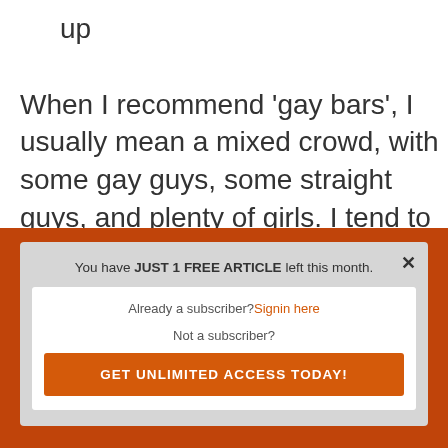up

When I recommend ‘gay bars’, I usually mean a mixed crowd, with some gay guys, some straight guys, and plenty of girls. I tend to avoid the total full-on shirtless-dudes-doing-the-nasty-on-the-dance-floor places, just because the pickings are slimmer, but even then you
[Figure (screenshot): A modal popup overlay with orange background. The modal box has a light gray background and contains: header text 'You have JUST 1 FREE ARTICLE left this month.' with a close (x) button. Inside a white inner box: 'Already a subscriber? Signin here' link in orange, 'Not a subscriber?' text, and an orange 'GET UNLIMITED ACCESS TODAY!' button.]